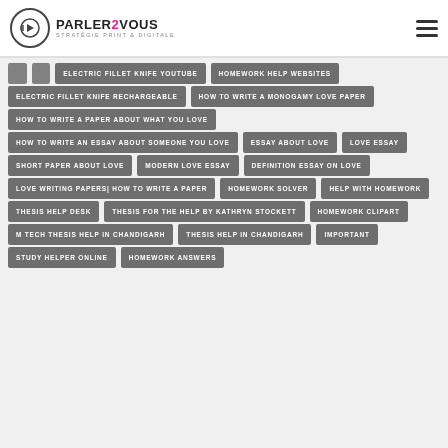PARLER2VOUS STRATÉGIE PRINT & DIGITALE
ELECTRIC FILLET KNIFE YOUTUBE
HOMEWORK HELP WEBSITES
ELECTRIC FILLET KNIFE RECHARGEABLE
HOW TO WRITE A MONOGAMY LOVE PAPER
HOW TO WRITE A PAPER ABOUT WHAT YOU LOVE
HOW TO WRITE AN ESSAY ABOUT SOMEONE YOU LOVE
ESSAY ABOUT LOVE
LOVE ESSAY
SHORT PAPER ABOUT LOVE
MODERN LOVE ESSAY
DEFINITION ESSAY ON LOVE
LOVE WRITING PAPERS| HOW TO WRITE A PAPER
HOMEWORK SOLVER
HELP WITH HOMEWORK
THESIS HELP DESK
THESIS FOR THE HELP BY KATHRYN STOCKETT
HOMEWORK CLIPART
M TECH THESIS HELP IN CHANDIGARH
THESIS HELP IN CHANDIGARH
IMPORTANT
STUDY HELPER ONLINE
HOMEWORK ANSWERS